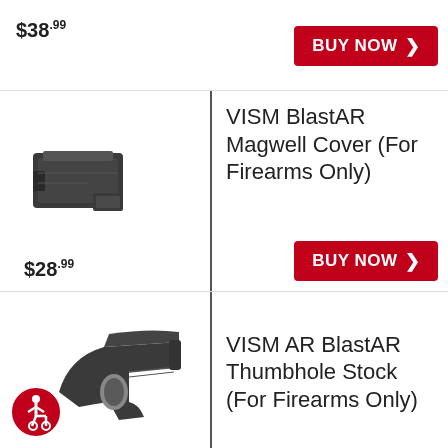$38.99
BUY NOW
[Figure (photo): VISM BlastAR Magwell Cover product photo, black plastic firearm accessory]
VISM BlastAR Magwell Cover (For Firearms Only)
$28.99
BUY NOW
[Figure (photo): VISM AR BlastAR Thumbhole Stock product photo, black rifle stock with wheelchair accessibility symbol]
VISM AR BlastAR Thumbhole Stock (For Firearms Only)